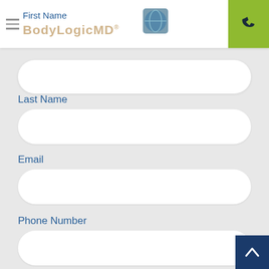BodyLogicMD
First Name
Last Name
Email
Phone Number
Zip Code